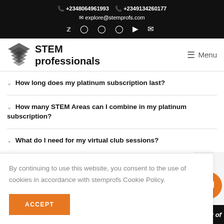📞 +2348064961993  📞 +2349134260177
✉ explore@stemprofs.com
🐦 Facebook Instagram LinkedIn YouTube Mail
STEM professionals  ☰ Menu
How long does my platinum subscription last?
How many STEM Areas can I combine in my platinum subscription?
What do I need for my virtual club sessions?
By continuing to use this website, you consent to the use of cookies in accordance with stemprofs Cookie Policy.
ACCEPT